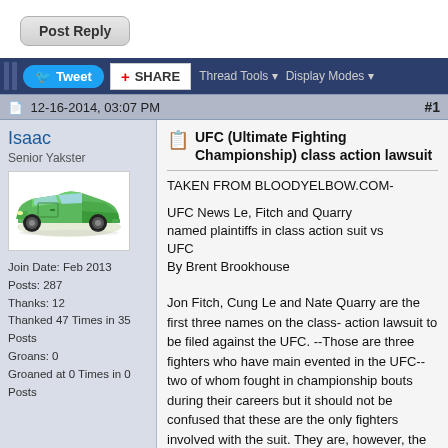Post Reply
Tweet | SHARE | Thread Tools | Display Modes
12-16-2014, 03:07 PM  #1
Isaac
Senior Yakster
[Figure (illustration): Green pickup/ute car side view]
Join Date: Feb 2013
Posts: 287
Thanks: 12
Thanked 47 Times in 35 Posts
Groans: 0
Groaned at 0 Times in 0 Posts
UFC (Ultimate Fighting Championship) class action lawsuit
TAKEN FROM BLOODYELBOW.COM-
UFC News Le, Fitch and Quarry named plaintiffs in class action suit vs UFC
By Brent Brookhouse
Jon Fitch, Cung Le and Nate Quarry are the first three names on the class-action lawsuit to be filed against the UFC. --Those are three fighters who have main evented in the UFC--two of whom fought in championship bouts during their careers but it should not be confused that these are the only fighters involved with the suit. They are, however, the "identity class plaintiffs" on the complaint. Carlos Newton is in attendance but not on